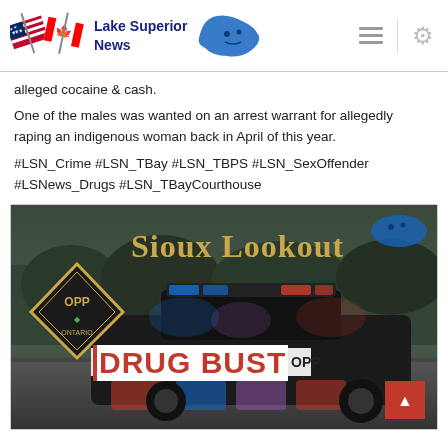Lake Superior News
alleged cocaine & cash.
One of the males was wanted on an arrest warrant for allegedly raping an indigenous woman back in April of this year.
#LSN_Crime #LSN_TBay #LSN_TBPS #LSN_SexOffender #LSNews_Drugs #LSN_TBayCourthouse
[Figure (photo): OPP Sioux Lookout Drug Bust image featuring an OPP police car with flashing lights and text overlays 'Sioux Lookout' in yellow/gold and 'DRUG BUST' in red on white. The OPP diamond logo is visible on the left. A small blue Lake Superior News logo appears in the top right corner. A red scroll-to-top button is in the bottom right corner.]